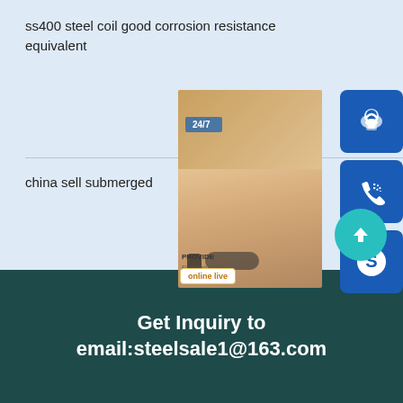ss400 steel coil good corrosion resistance equivalent
china sell submerged
[Figure (photo): Customer service representative with headset, with overlaid blue icon buttons (headset, phone, Skype), 24/7 label, PROVIDE/Empowering Customers text, and online live button]
Get Inquiry to email:steelsale1@163.com